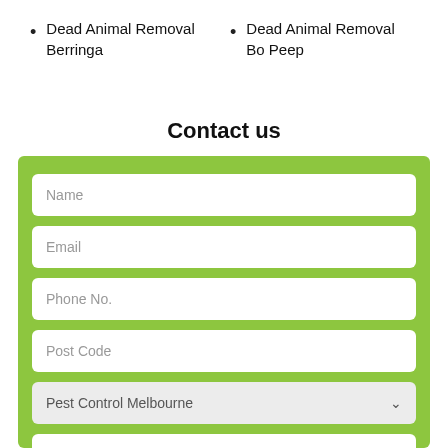Dead Animal Removal Berringa
Dead Animal Removal Bo Peep
Contact us
Name
Email
Phone No.
Post Code
Pest Control Melbourne
Message